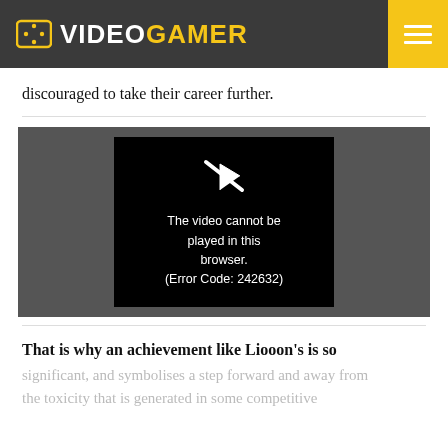VideoGamer
discouraged to take their career further.
[Figure (screenshot): A video player showing an error message on a black background: 'The video cannot be played in this browser. (Error Code: 242632)' with a broken video icon above the text.]
That is why an achievement like Liooon’s is so significant, and symbolises a step forward and away from the toxicity that is generated in some competitive